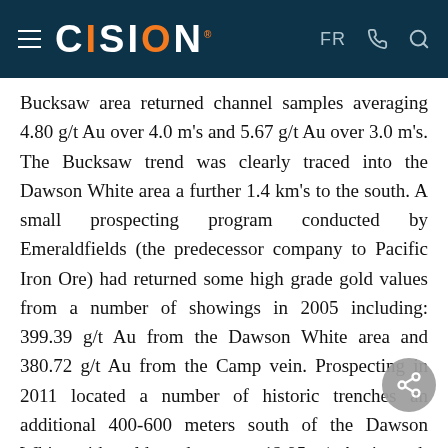CISION | FR
Bucksaw area returned channel samples averaging 4.80 g/t Au over 4.0 m's and 5.67 g/t Au over 3.0 m's. The Bucksaw trend was clearly traced into the Dawson White area a further 1.4 km's to the south. A small prospecting program conducted by Emeraldfields (the predecessor company to Pacific Iron Ore) had returned some high grade gold values from a number of showings in 2005 including: 399.39 g/t Au from the Dawson White area and 380.72 g/t Au from the Camp vein. Prospecting in 2011 located a number of historic trenches an additional 400-600 meters south of the Dawson White with gold grades up to 12.95 g/t Au in grab samples. This corridor is somewhat unusual containing significant amounts of